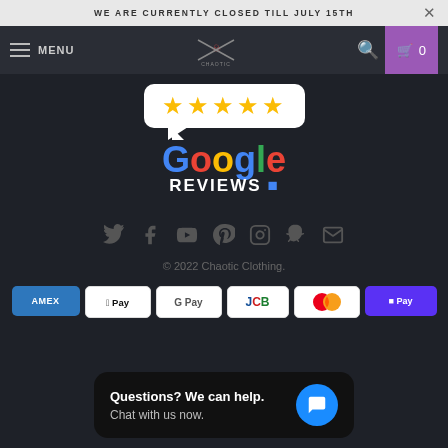WE ARE CURRENTLY CLOSED TILL JULY 15TH
[Figure (screenshot): Website navigation bar with hamburger menu, MENU text, Chaotic Clothing logo (skull with crossed items), search icon, and purple cart button with 0 count]
[Figure (logo): Google Reviews logo with 5 gold stars in white speech bubble above colorful Google text and white REVIEWS text]
[Figure (infographic): Social media icons row: Twitter, Facebook, YouTube, Pinterest, Instagram, Snapchat, Email]
© 2022 Chaotic Clothing.
[Figure (infographic): Payment method badges: AMEX, Apple Pay, G Pay, JCB, Mastercard, Shop Pay]
Questions? We can help. Chat with us now.